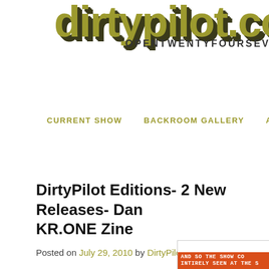[Figure (logo): dirtypilot.com logo in olive/yellow-green bold text with dark shadow, tagline OPENTWENTYFOURSEV to the right]
CURRENT SHOW   BACKROOM GALLERY   AUCTIO
DirtyPilot Editions- 2 New Releases- Dan... KR.ONE Zine
Posted on July 29, 2010 by DirtyPilot
[Figure (photo): Partial image showing orange/red background with handwritten text reading AND SO THE SHOW CO... INTIRELY SEEN AT THE S...]